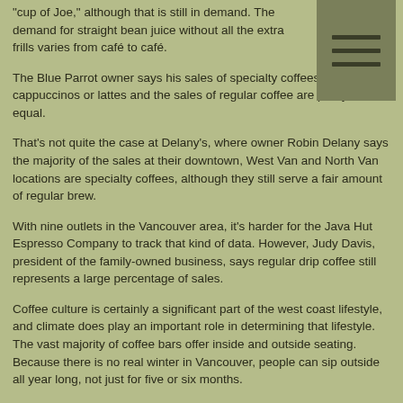“cup of Joe,” although that is still in demand. The demand for straight bean juice without all the extra frills varies from café to café.
[Figure (other): Menu icon with three horizontal bars on dark olive background]
The Blue Parrot owner says his sales of specialty coffees like cappuccinos or lattes and the sales of regular coffee are pretty much equal.
That’s not quite the case at Delany’s, where owner Robin Delany says the majority of the sales at their downtown, West Van and North Van locations are specialty coffees, although they still serve a fair amount of regular brew.
With nine outlets in the Vancouver area, it’s harder for the Java Hut Espresso Company to track that kind of data. However, Judy Davis, president of the family-owned business, says regular drip coffee still represents a large percentage of sales.
Coffee culture is certainly a significant part of the west coast lifestyle, and climate does play an important role in determining that lifestyle. The vast majority of coffee bars offer inside and outside seating. Because there is no real winter in Vancouver, people can sip outside all year long, not just for five or six months.
“Our outside seating is a big part of our business, 12 months of the year,” says Delany, “The number of people sitting outside does drop off a little in rainy weather, but even if it’s really inclement, people still like to be